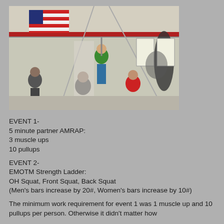[Figure (photo): Indoor gym photo showing a person in a green shirt climbing or hanging from gym equipment, with an American flag visible in the background, and other people and gym posters visible below.]
EVENT 1-
5 minute partner AMRAP:
3 muscle ups
10 pullups
EVENT 2-
EMOTM Strength Ladder:
OH Squat, Front Squat, Back Squat
(Men's bars increase by 20#, Women's bars increase by 10#)
The minimum work requirement for event 1 was 1 muscle up and 10 pullups per person. Otherwise it didn't matter how